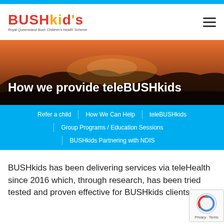[Figure (logo): BUSHkids logo — Royal Queensland Bush Children's Health Scheme]
[Figure (photo): Hero banner photo with sunset landscape and hills silhouette]
How we provide teleBUSHkids
Refer a child | How We Can Help | teleBUSHkids | Group Programs / Education Sessions | BUSHkids Partnering with NDIS
BUSHkids has been delivering services via teleHealth since 2016 which, through research, has been tried tested and proven effective for BUSHkids clients.